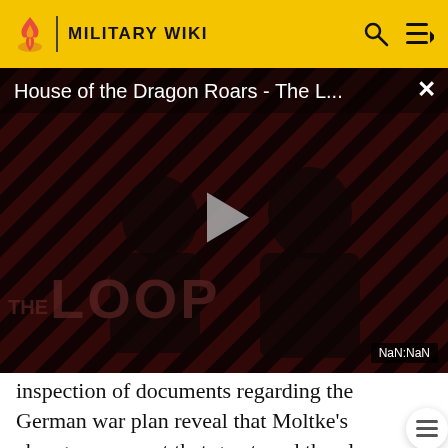MILITARY WIKI
[Figure (screenshot): Video player showing 'House of the Dragon Roars - The L...' with a play button overlay, diagonal red and black stripe pattern background, THE LOOP branding, silhouetted figures, and NaN:NaN time indicator]
inspection of documents regarding the German war plan reveal that Moltke's changes were not that great, and the plan was basically flawed from the start. He claims that the Schlieffen plan does not deserve its high reputation, because it underestimated pretty much